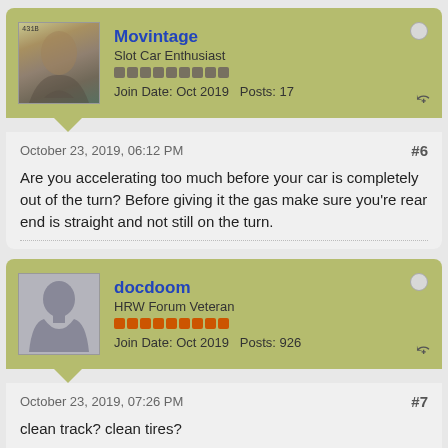Movintage
Slot Car Enthusiast
Join Date: Oct 2019  Posts: 17
October 23, 2019, 06:12 PM
#6
Are you accelerating too much before your car is completely out of the turn? Before giving it the gas make sure you're rear end is straight and not still on the turn.
docdoom
HRW Forum Veteran
Join Date: Oct 2019  Posts: 926
October 23, 2019, 07:26 PM
#7
clean track? clean tires?